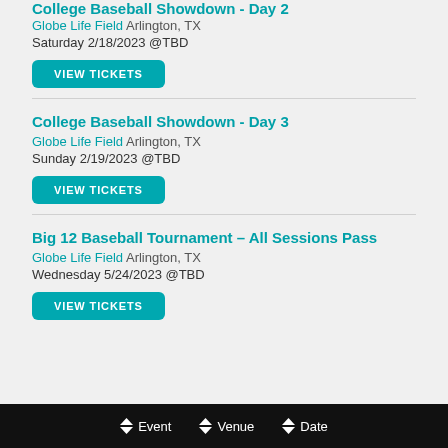College Baseball Showdown - Day 2 (partial, cut off at top)
Globe Life Field Arlington, TX
Saturday 2/18/2023 @TBD
VIEW TICKETS
College Baseball Showdown - Day 3
Globe Life Field Arlington, TX
Sunday 2/19/2023 @TBD
VIEW TICKETS
Big 12 Baseball Tournament - All Sessions Pass
Globe Life Field Arlington, TX
Wednesday 5/24/2023 @TBD
VIEW TICKETS
Event  Venue  Date